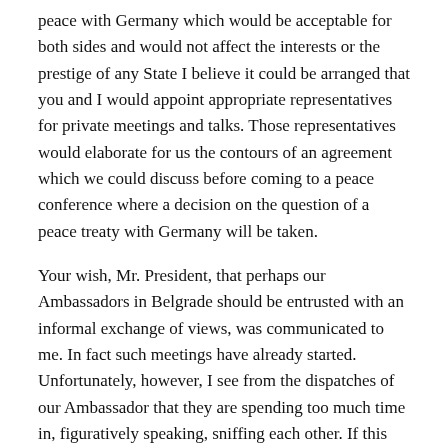peace with Germany which would be acceptable for both sides and would not affect the interests or the prestige of any State I believe it could be arranged that you and I would appoint appropriate representatives for private meetings and talks. Those representatives would elaborate for us the contours of an agreement which we could discuss before coming to a peace conference where a decision on the question of a peace treaty with Germany will be taken.
Your wish, Mr. President, that perhaps our Ambassadors in Belgrade should be entrusted with an informal exchange of views, was communicated to me. In fact such meetings have already started. Unfortunately, however, I see from the dispatches of our Ambassador that they are spending too much time in, figuratively speaking, sniffing each other. If this goes on the business will not move forward, whereas it should be tackled with more energy.^6
I have never met Mr. Kennan but, so far as I can judge by the press, he is, to my mind, a man with whom preparatory work could be done, and we would accordingly authorize our